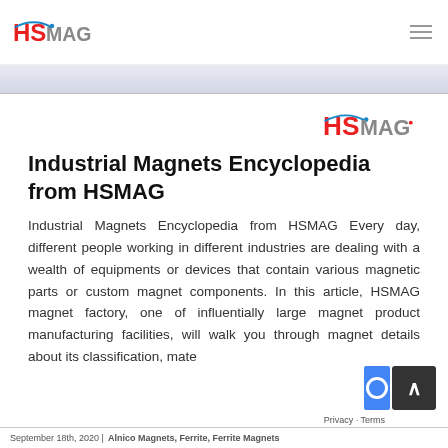HSMAG logo and navigation
[Figure (logo): HSMAG logo in top-right content area]
Industrial Magnets Encyclopedia from HSMAG
Industrial Magnets Encyclopedia from HSMAG Every day, different people working in different industries are dealing with a wealth of equipments or devices that contain various magnetic parts or custom magnet components. In this article, HSMAG magnet factory, one of influentially large magnet product manufacturing facilities, will walk you through magnet details about its classification, mate...
September 18th, 2020 | Alnico Magnets, Ferrite, Ferrite Magnets